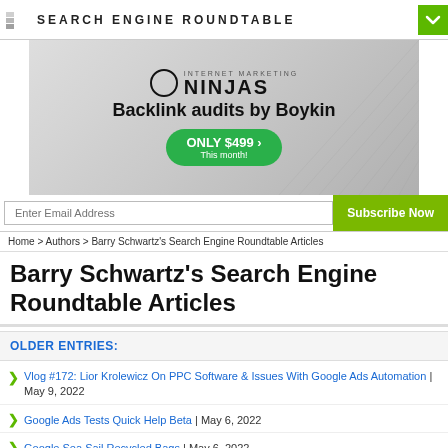SEARCH ENGINE ROUNDTABLE
[Figure (illustration): Internet Marketing Ninjas advertisement banner: 'Backlink audits by Boykin - ONLY $499 This month!']
Enter Email Address  |  Subscribe Now
Home > Authors > Barry Schwartz's Search Engine Roundtable Articles
Barry Schwartz's Search Engine Roundtable Articles
OLDER ENTRIES:
Vlog #172: Lior Krolewicz On PPC Software & Issues With Google Ads Automation | May 9, 2022
Google Ads Tests Quick Help Beta | May 6, 2022
Google Sea Sail Recycled Bags | May 6, 2022